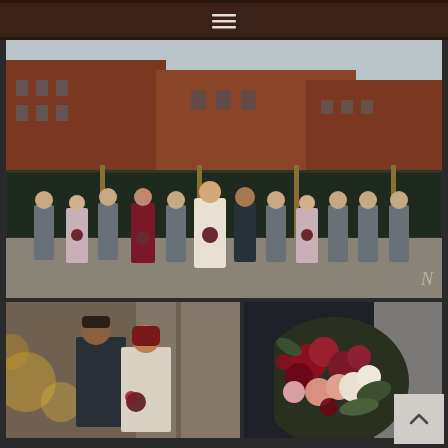[Figure (photo): Navigation bar with hamburger menu icon on dark brown/wood-paneled background]
[Figure (photo): Wedding party group photo in an urban industrial setting with brick buildings. Bridal party lined up in front of dark green garage doors: groomsmen in gray suits, bridesmaids in mauve/dusty rose gowns, maid of honor in burgundy dress, bride in ivory ballgown, groom in black suit.]
[Figure (photo): Couple portrait - groom in dark suit facing bride with red hair, holding bouquet with dark florals, blurred golden bokeh in foreground, stone building in background]
[Figure (photo): Close-up of wedding bouquet with deep red, burgundy, blush pink, and cream flowers with greenery, held against dark suit fabric]
[Figure (photo): Partial view of brick building facades from below, urban architecture background, cropped at bottom of frame]